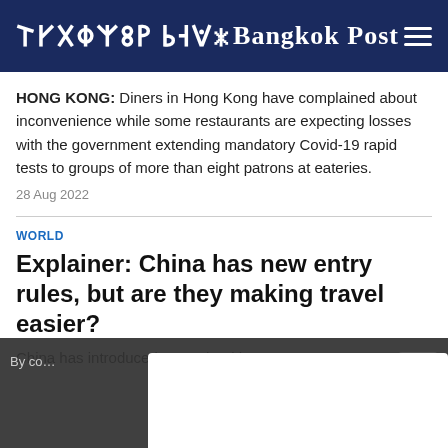Bangkok Post
HONG KONG: Diners in Hong Kong have complained about inconvenience while some restaurants are expecting losses with the government extending mandatory Covid-19 rapid tests to groups of more than eight patrons at eateries.
28 Aug 2022
WORLD
Explainer: China has new entry rules, but are they making travel easier?
China has introduced a new health
By co... s as